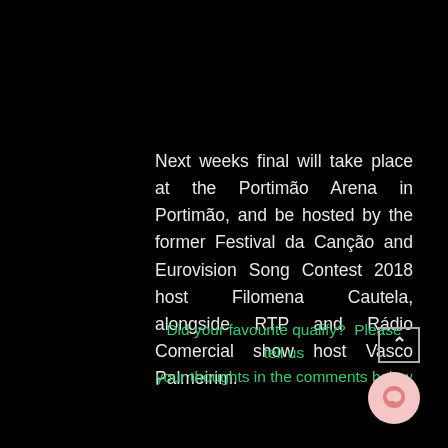Next weeks final will take place at the Portimão Arena in Portimão, and be hosted by the former Festival da Canção and Eurovision Song Contest 2018 host Filomena Cautela, alongside RTP and Rádio Comercial show host Vasco Palmeirim.
Did your favourite qualify?  Please tell us your thoughts in the comments below